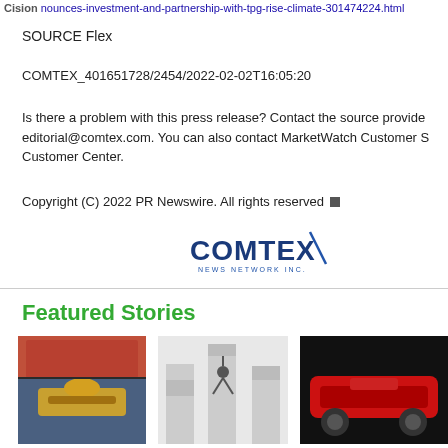Cision nounces-investment-and-partnership-with-tpg-rise-climate-301474224.html
SOURCE Flex
COMTEX_401651728/2454/2022-02-02T16:05:20
Is there a problem with this press release? Contact the source provider at editorial@comtex.com. You can also contact MarketWatch Customer Service Customer Center.
Copyright (C) 2022 PR Newswire. All rights reserved
[Figure (logo): COMTEX News Network Inc. logo in blue and dark blue text]
Featured Stories
[Figure (photo): Person wearing a cowboy belt buckle and jeans]
[Figure (photo): Person balancing on stacks of paper documents]
[Figure (photo): Red car on dark background]
Seeing America again
How to dig yourself out
Mov...